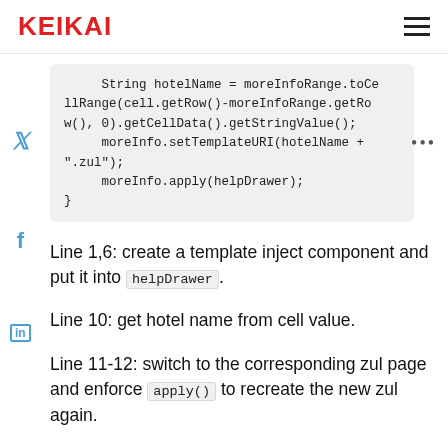KEIKAI
[Figure (screenshot): Code block showing Java snippet with String hotelName, moreInfoRange, moreInfo.setTemplateURI and moreInfo.apply calls]
Line 1,6: create a template inject component and put it into helpDrawer.
Line 10: get hotel name from cell value.
Line 11-12: switch to the corresponding zul page and enforce apply() to recreate the new zul again.